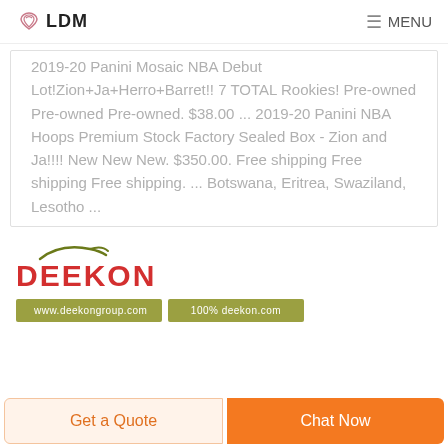LDM  MENU
2019-20 Panini Mosaic NBA Debut Lot!Zion+Ja+Herro+Barret!! 7 TOTAL Rookies! Pre-owned Pre-owned Pre-owned. $38.00 ... 2019-20 Panini NBA Hoops Premium Stock Factory Sealed Box - Zion and Ja!!!! New New New. $350.00. Free shipping Free shipping Free shipping. ... Botswana, Eritrea, Swaziland, Lesotho ...
[Figure (logo): DEEKON brand logo with olive/green swoosh above bold red text reading DEEKON]
Get a Quote   Chat Now